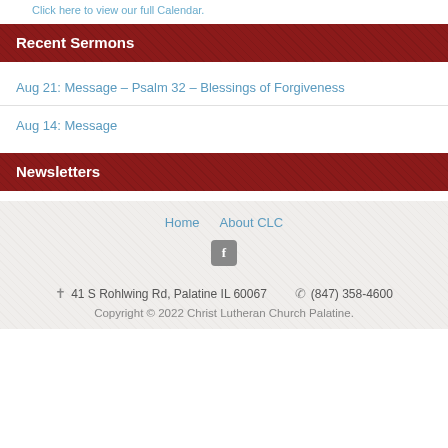Click here to view our full Calendar.
Recent Sermons
Aug 21: Message – Psalm 32 – Blessings of Forgiveness
Aug 14: Message
Newsletters
Home | About CLC | Facebook | 41 S Rohlwing Rd, Palatine IL 60067 | (847) 358-4600 | Copyright © 2022 Christ Lutheran Church Palatine.